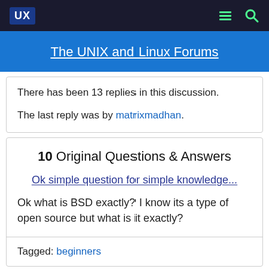UX | The UNIX and Linux Forums
The UNIX and Linux Forums
There has been 13 replies in this discussion.
The last reply was by matrixmadhan.
10  Original Questions & Answers
Ok simple question for simple knowledge...
Ok what is BSD exactly? I know its a type of open source but what is it exactly?
Tagged: beginners